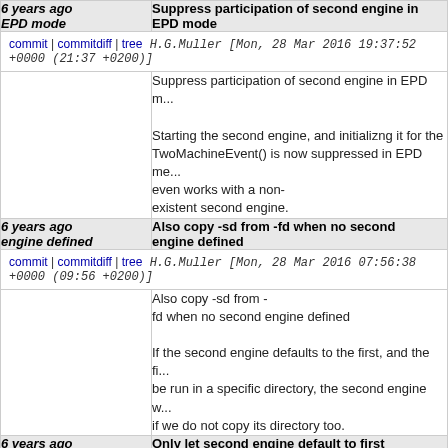| 6 years ago EPD mode | Suppress participation of second engine in EPD mode |
| commit | commitdiff | tree
H.G.Muller [Mon, 28 Mar 2016 19:37:52 +0000 (21:37 +0200)] |  |
|  | Suppress participation of second engine in EPD m...

Starting the second engine, and initializng it for the...
TwoMachineEvent() is now suppressed in EPD me...
even works with a non-existent second engine. |
| 6 years ago engine defined | Also copy -sd from -fd when no second engine defined |
| commit | commitdiff | tree
H.G.Muller [Mon, 28 Mar 2016 07:56:38 +0000 (09:56 +0200)] |  |
|  | Also copy -sd from -fd when no second engine defined

If the second engine defaults to the first, and the fi...
be run in a specific directory, the second engine w...
if we do not copy its directory too. |
| 6 years ago | Only let second engine default to first |